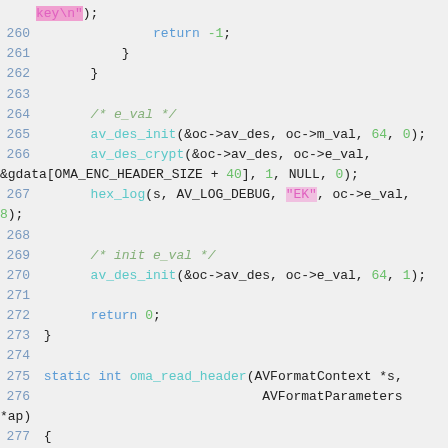[Figure (screenshot): Source code screenshot showing C code lines 260-279 with syntax highlighting. Line numbers in blue, keywords in blue, function names in cyan, strings in pink/magenta, numbers in green, comments in green italic.]